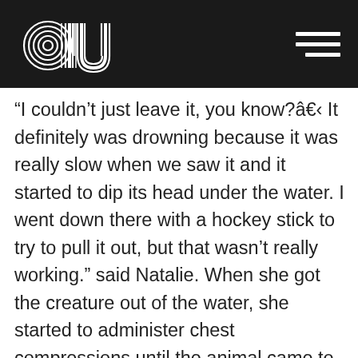au [logo] [hamburger menu]
“I couldn’t just leave it, you know?â€¹ It definitely was drowning because it was really slow when we saw it and it started to dip its head under the water. I went down there with a hockey stick to try to pull it out, but that wasn’t really working.” said Natalie. When she got the creature out of the water, she started to administer chest compressions until the animal came to.